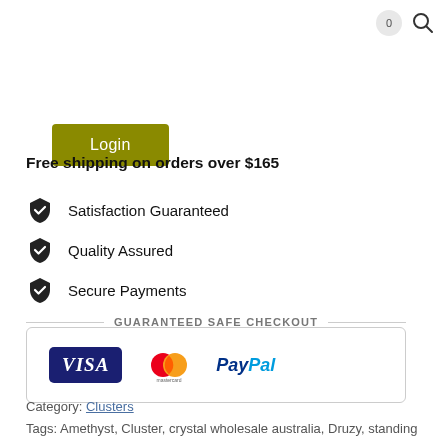[Figure (other): Cart icon with 0 bubble and search icon in top right corner]
[Figure (other): Login button (olive/dark yellow background, white text)]
Free shipping on orders over $165
Satisfaction Guaranteed
Quality Assured
Secure Payments
[Figure (other): Guaranteed Safe Checkout box with Visa, Mastercard, and PayPal logos]
Category: Clusters
Tags: Amethyst, Cluster, crystal wholesale australia, Druzy, standing